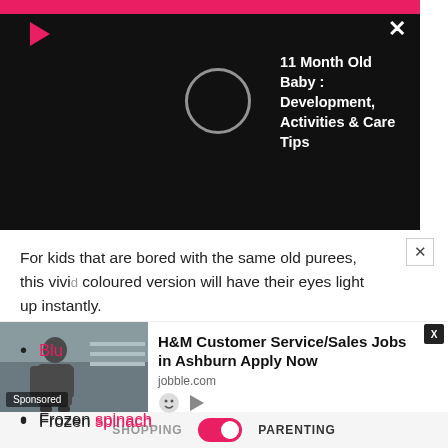[Figure (screenshot): Video player overlay on black background showing a loading spinner circle and title '11 Month Old Baby : Development, Activities & Care Tips' in white bold text. Pink bar at top, red play triangle icon top-left, white X close button top-right.]
For kids that are bored with the same old purees, this vivid coloured version will have their eyes light up instantly.
Ingredients
Water
Lemon juice
Frozen spinach
Blu
[Figure (screenshot): Advertisement banner: image of person in store with 'Sponsored' label, ad text 'H&M Customer Service/Sales Jobs in Ashburn Apply Now', domain 'jobble.com', with X close button and icons.]
SHOPPING  [toggle]  PARENTING